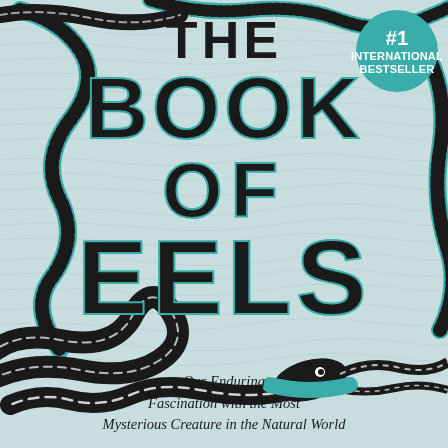[Figure (illustration): Book cover illustration featuring sinuous eels rendered in black with teal/white highlighting against a light teal water-textured background. Multiple eels wind across the cover, one showing a detailed fish head with eye at lower right.]
THE BOOK OF EELS
#1 INTERNATIONAL BESTSELLER
Our Enduring Fascination with the Most Mysterious Creature in the Natural World